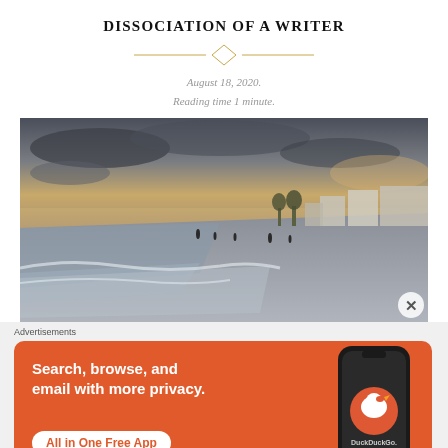DISSOCIATION OF A WRITER
August 18, 2020.
Reading time 1 minute.
[Figure (photo): Beach scene at sunset/dusk with overcast sky, waves washing onto shore, silhouettes of people walking on the wet sand, houses visible in the background on the right.]
Advertisements
[Figure (illustration): DuckDuckGo advertisement banner on orange background. Text reads: Search, browse, and email with more privacy. All in One Free App. DuckDuckGo logo and phone mockup shown.]